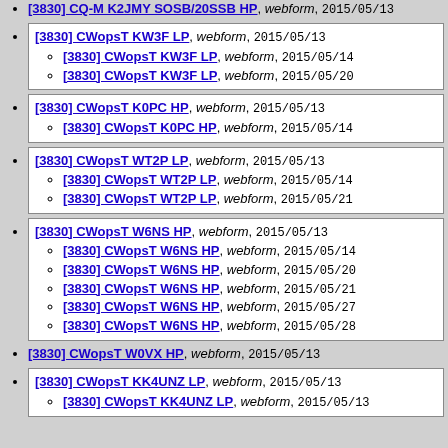[3830] CQ-M K2JMY SOSB/20SSB HP, webform, 2015/05/13
[3830] CWopsT KW3F LP, webform, 2015/05/13; [3830] CWopsT KW3F LP, webform, 2015/05/14; [3830] CWopsT KW3F LP, webform, 2015/05/20
[3830] CWopsT K0PC HP, webform, 2015/05/13; [3830] CWopsT K0PC HP, webform, 2015/05/14
[3830] CWopsT WT2P LP, webform, 2015/05/13; [3830] CWopsT WT2P LP, webform, 2015/05/14; [3830] CWopsT WT2P LP, webform, 2015/05/21
[3830] CWopsT W6NS HP, webform, 2015/05/13; [3830] CWopsT W6NS HP, webform, 2015/05/14; [3830] CWopsT W6NS HP, webform, 2015/05/20; [3830] CWopsT W6NS HP, webform, 2015/05/21; [3830] CWopsT W6NS HP, webform, 2015/05/27; [3830] CWopsT W6NS HP, webform, 2015/05/28
[3830] CWopsT W0VX HP, webform, 2015/05/13
[3830] CWopsT KK4UNZ LP, webform, 2015/05/13; [3830] CWopsT KK4UNZ LP, webform, 2015/05/13...